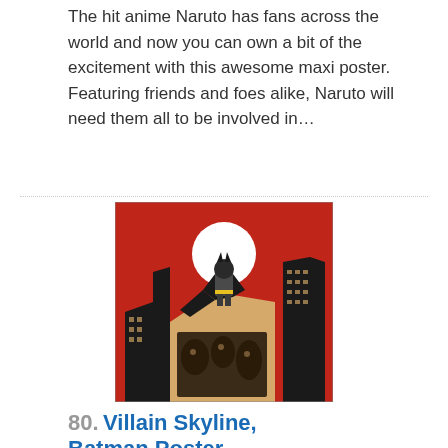The hit anime Naruto has fans across the world and now you can own a bit of the excitement with this awesome maxi poster. Featuring friends and foes alike, Naruto will need them all to be involved in…
[Figure (illustration): Batman Villain Skyline poster: Batman stands on a rooftop against a red sky with a large white moon. Below are tall city buildings with faces of various villains depicted on them. Art-deco comic book style illustration.]
80. Villain Skyline, Batman Poster